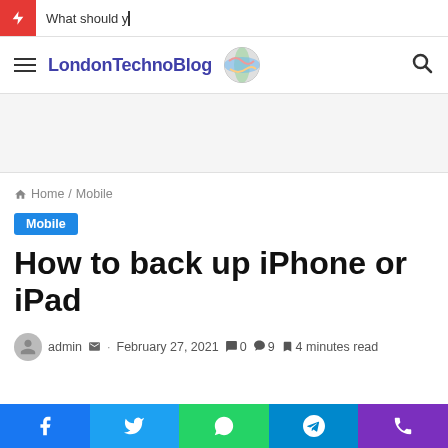What should y_
LondonTechnoBlog
Home / Mobile
Mobile
How to back up iPhone or iPad
admin · February 27, 2021  0  9  4 minutes read